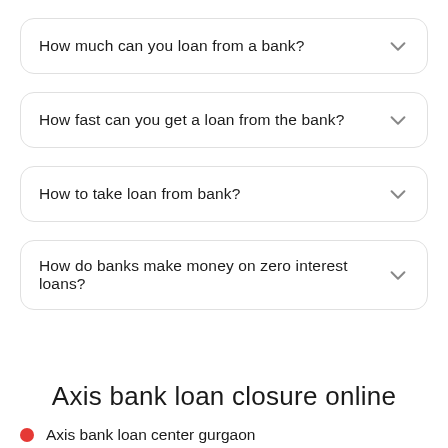How much can you loan from a bank?
How fast can you get a loan from the bank?
How to take loan from bank?
How do banks make money on zero interest loans?
Axis bank loan closure online
Axis bank loan center gurgaon